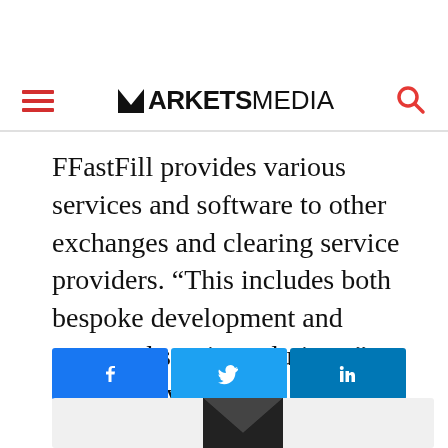MARKETS MEDIA
FFastFill provides various services and software to other exchanges and clearing service providers. “This includes both bespoke development and managed service solutions,” said McElvogue.
[Figure (other): Social share buttons: Facebook, Twitter, LinkedIn]
[Figure (other): Newsletter signup box with envelope icon]